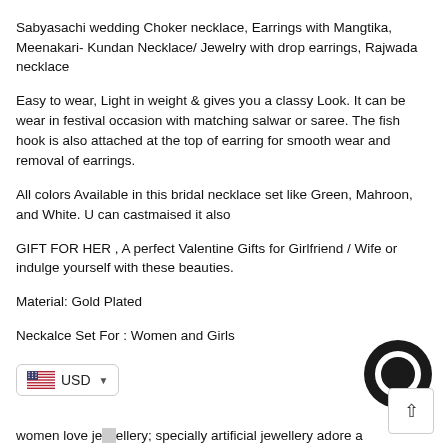Sabyasachi wedding Choker necklace, Earrings with Mangtika, Meenakari- Kundan Necklace/ Jewelry with drop earrings, Rajwada necklace
Easy to wear, Light in weight & gives you a classy Look. It can be wear in festival occasion with matching salwar or saree. The fish hook is also attached at the top of earring for smooth wear and removal of earrings.
All colors Available in this bridal necklace set like Green, Mahroon, and White. U can castmaised it also
GIFT FOR HER , A perfect Valentine Gifts for Girlfriend / Wife or indulge yourself with these beauties.
Material: Gold Plated
Neckalce Set For : Women and Girls
women love jewellery; specially artificial jewellery adore a